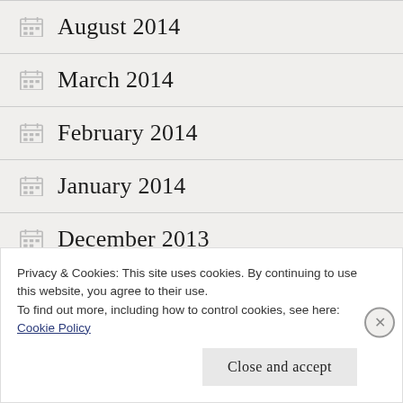August 2014
March 2014
February 2014
January 2014
December 2013
October 2013
Privacy & Cookies: This site uses cookies. By continuing to use this website, you agree to their use.
To find out more, including how to control cookies, see here: Cookie Policy
Close and accept